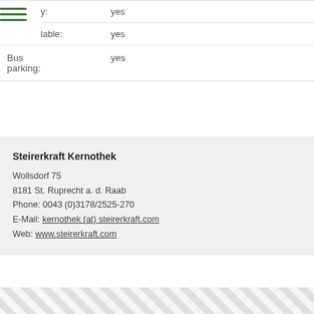|  | y: | yes |
|  | lable: | yes |
| Bus parking: |  | yes |
Steirerkraft Kernothek
Wollsdorf 75
8181 St. Ruprecht a. d. Raab
Phone: 0043 (0)3178/2525-270
E-Mail: kernothek (at) steirerkraft.com
Web: www.steirerkraft.com